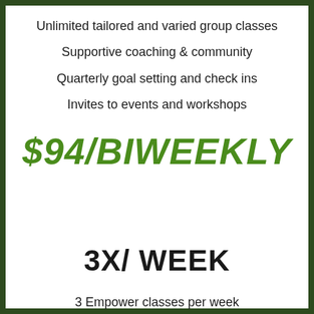Unlimited tailored and varied group classes
Supportive coaching & community
Quarterly goal setting and check ins
Invites to events and workshops
$94/BIWEEKLY
3X/ WEEK
3 Empower classes per week
Tailored and varied programming